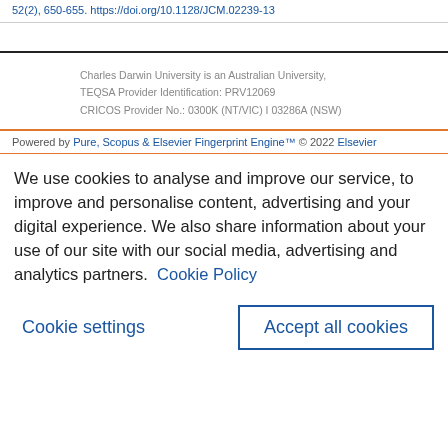52(2), 650-655. https://doi.org/10.1128/JCM.02239-13
Charles Darwin University is an Australian University, TEQSA Provider Identification: PRV12069 CRICOS Provider No.: 0300K (NT/VIC) I 03286A (NSW)
Powered by Pure, Scopus & Elsevier Fingerprint Engine™ © 2022 Elsevier
We use cookies to analyse and improve our service, to improve and personalise content, advertising and your digital experience. We also share information about your use of our site with our social media, advertising and analytics partners. Cookie Policy
Cookie settings
Accept all cookies